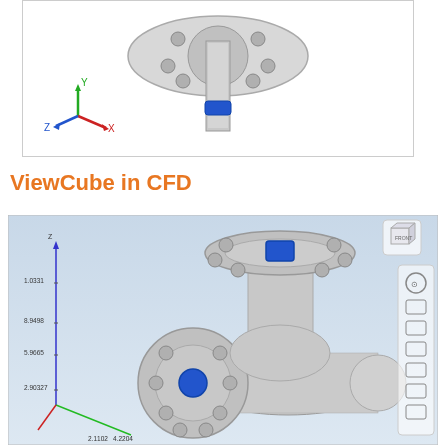[Figure (schematic): 3D CAD model of a pipe fitting/valve assembly (top-down isometric view) with blue highlighted connector, shown with coordinate axis indicator (Z up, X right, Y back) in bottom-left corner. White background with gray border.]
ViewCube in CFD
[Figure (schematic): 3D CAD model of a T-shaped pipe valve assembly in CFD software viewport. Shows flanged connections with blue cylindrical fittings, gray metallic appearance. Coordinate axes shown on left (Z vertical, X and Y horizontal). Numerical axis labels visible: 1.0331, 8.9498, 5.9665, 2.90327 on Z-axis; 2.1102, 4.2204 on X-axis. ViewCube shown in top-right corner. Navigation controls panel on the right side.]